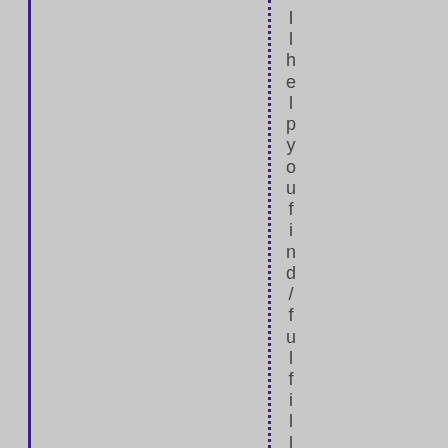I l h e l p y o u f i n d / f u l f i l l y o u r l i f e ,